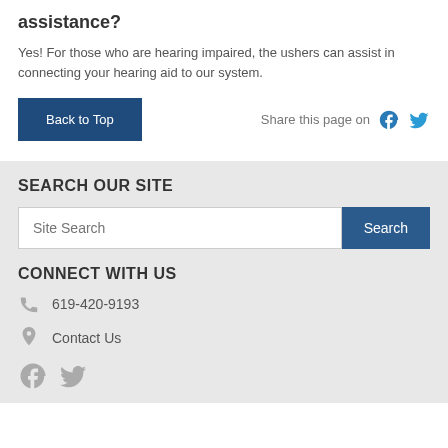assistance?
Yes! For those who are hearing impaired, the ushers can assist in connecting your hearing aid to our system.
Back to Top
Share this page on
SEARCH OUR SITE
Site Search
CONNECT WITH US
619-420-9193
Contact Us